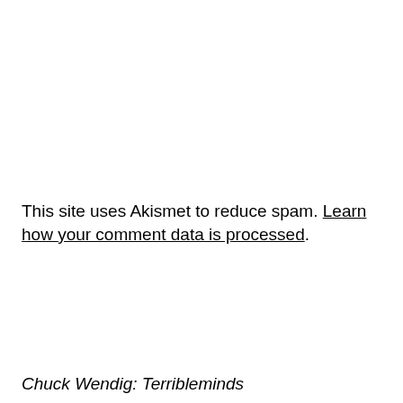This site uses Akismet to reduce spam. Learn how your comment data is processed.
Chuck Wendig: Terribleminds